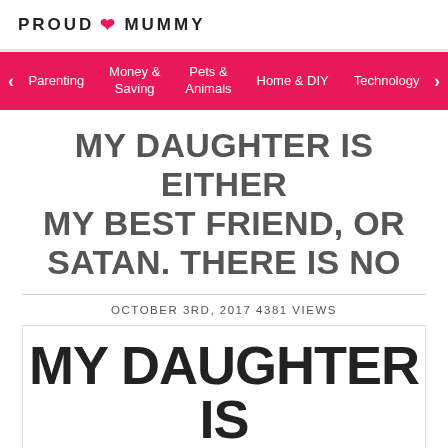PROUD ♥ MUMMY
Parenting | Money & Saving | Pets & Animals | Home & DIY | Technology
MY DAUGHTER IS EITHER MY BEST FRIEND, OR SATAN. THERE IS NO
OCTOBER 3RD, 2017 4381 VIEWS
[Figure (illustration): Large bold text reading 'MY DAUGHTER IS EITHER MY BEST' in black on white background inside a bordered box]